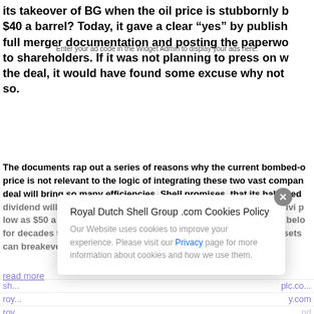its takeover of BG when the oil price is stubbornly b $40 a barrel? Today, it gave a clear "yes" by publish full merger documentation and posting the paperwo to shareholders. If it was not planning to press on w the deal, it would have found some excuse why not so.
Enter your ad code in the Widget Admin to display your ads here.
The documents rap out a series of reasons why the current bombed-o price is not relevant to the logic of integrating these two vast compan deal will bring so many efficiencies, Shell promises, that its hallowed dividend will be safer, bringing in more cashflow to pay into the divi p low as $50 a barrel. Few people really think crude is likely to stay belo for decades to come. And, as far as the value of the combined assets can breakeven at the low $60s, Shell adds.
read more
Royal Dutch Shell Group .com Cookies Policy
Our Website uses cookies to improve your experience. Please visit our Privacy page for more information about cookies and how we use them.
sh... plc.co...
roy... y.com
roy... nd
sh... oedia f...